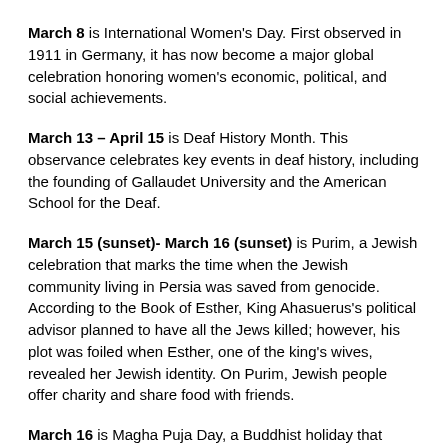March 8 is International Women's Day. First observed in 1911 in Germany, it has now become a major global celebration honoring women's economic, political, and social achievements.
March 13 – April 15 is Deaf History Month. This observance celebrates key events in deaf history, including the founding of Gallaudet University and the American School for the Deaf.
March 15 (sunset)- March 16 (sunset) is Purim, a Jewish celebration that marks the time when the Jewish community living in Persia was saved from genocide. According to the Book of Esther, King Ahasuerus's political advisor planned to have all the Jews killed; however, his plot was foiled when Esther, one of the king's wives, revealed her Jewish identity. On Purim, Jewish people offer charity and share food with friends.
March 16 is Magha Puja Day, a Buddhist holiday that marks an event early in the Buddha's teaching life when a group of 1,250 enlightened saints, ordained by the Buddha, gathered to pay their respect to him.
March 17 is St. Patrick's Day, a holiday started in Ireland to